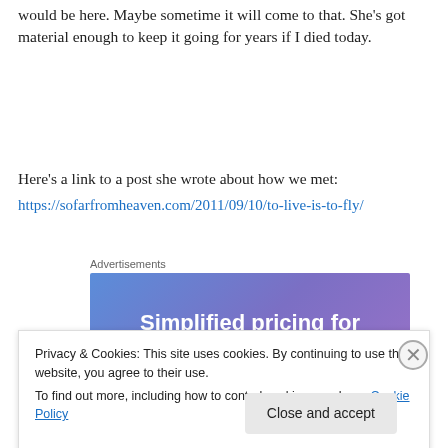would be here. Maybe sometime it will come to that. She's got material enough to keep it going for years if I died today.
Here's a link to a post she wrote about how we met:
https://sofarfromheaven.com/2011/09/10/to-live-is-to-fly/
[Figure (other): Advertisement banner with blue-purple gradient background reading 'Simplified pricing for everything you need.']
Privacy & Cookies: This site uses cookies. By continuing to use this website, you agree to their use.
To find out more, including how to control cookies, see here: Cookie Policy
Close and accept